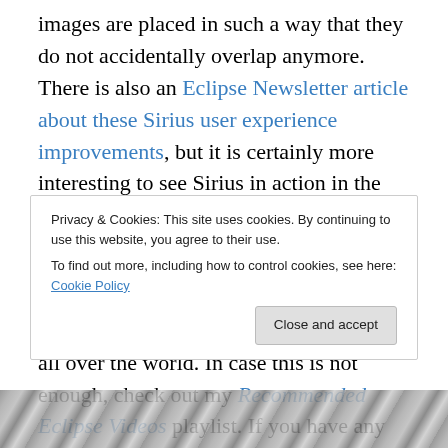images are placed in such a way that they do not accidentally overlap anymore. There is also an Eclipse Newsletter article about these Sirius user experience improvements, but it is certainly more interesting to see Sirius in action in the webinar.
These were the six Eclipse Oxygen webinars with a total duration of almost five hours, presented by ten people from all over the world. In case this is not enough, check out my Recommended Eclipse Videos playlist. If you have any recommendation for an Eclipse video, please drop a
Privacy & Cookies: This site uses cookies. By continuing to use this website, you agree to their use.
To find out more, including how to control cookies, see here: Cookie Policy
Close and accept
[Figure (photo): Partial image strip visible at bottom of page, appears to show various documents or objects]